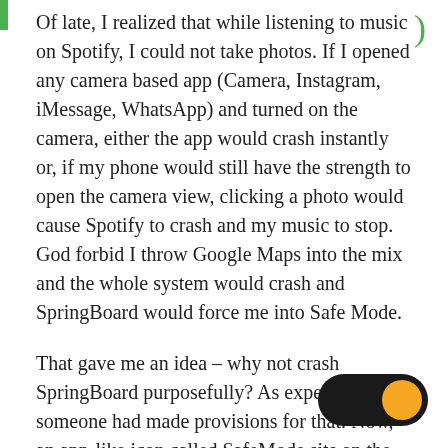Of late, I realized that while listening to music on Spotify, I could not take photos. If I opened any camera based app (Camera, Instagram, iMessage, WhatsApp) and turned on the camera, either the app would crash instantly or, if my phone would still have the strength to open the camera view, clicking a photo would cause Spotify to crash and my music to stop. God forbid I throw Google Maps into the mix and the whole system would crash and SpringBoard would force me into Safe Mode.
That gave me an idea – why not crash SpringBoard purposefully? As expected, someone had made provisions for that. Now, an app-like icon called SafeMode sits on the last page of my phone and whenever I'm out and about or with friends, I quietly crash the phone into safe mode and gleefully phone the way it was intended to be – as a means to
[Figure (illustration): A toggle switch UI element with a dark/black pill-shaped background and an orange circular knob on the right side, indicating an 'on' state.]